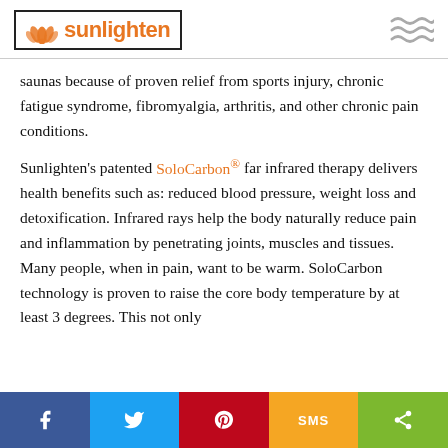[Figure (logo): Sunlighten logo with lotus flower icon in orange and brand name 'sunlighten' in orange text inside a black-bordered rectangle]
saunas because of proven relief from sports injury, chronic fatigue syndrome, fibromyalgia, arthritis, and other chronic pain conditions.
Sunlighten's patented SoloCarbon® far infrared therapy delivers health benefits such as: reduced blood pressure, weight loss and detoxification. Infrared rays help the body naturally reduce pain and inflammation by penetrating joints, muscles and tissues. Many people, when in pain, want to be warm. SoloCarbon technology is proven to raise the core body temperature by at least 3 degrees. This not only
[Figure (infographic): Social sharing bar with Facebook (blue), Twitter (light blue), Pinterest (red), SMS (orange/yellow), and share (green) buttons]